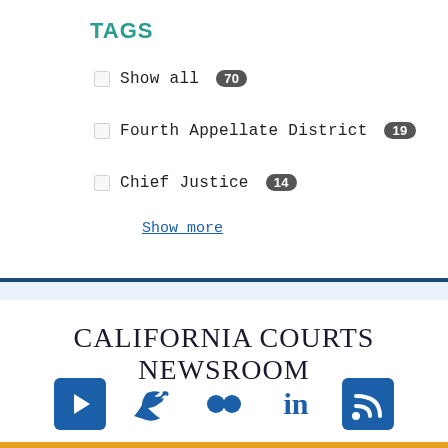TAGS
Show all 70
Fourth Appellate District 19
Chief Justice 14
Show more
CALIFORNIA COURTS NEWSROOM
[Figure (infographic): Social media icons: YouTube, Twitter, Flickr, LinkedIn, RSS feed — all in dark blue]